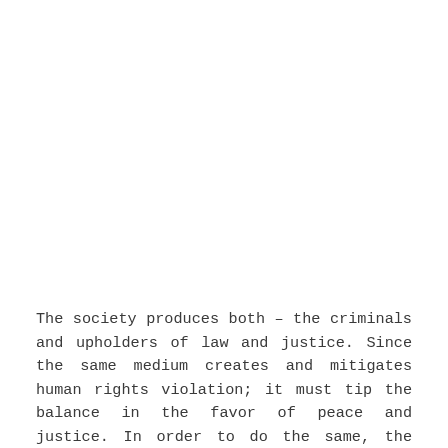The society produces both – the criminals and upholders of law and justice. Since the same medium creates and mitigates human rights violation; it must tip the balance in the favor of peace and justice. In order to do the same, the cultural improvement needs to start from the micro unit of society – the family. The Centre for Social Research not only advocates for gender transformation in families but also